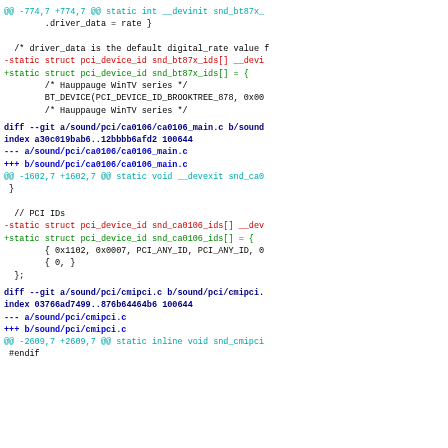@@ -774,7 +774,7 @@ static int __devinit snd_bt87x_
        .driver_data = rate }

 /* driver_data is the default digital_rate value f
-static struct pci_device_id snd_bt87x_ids[] __devi
+static struct pci_device_id snd_bt87x_ids[] = {
        /* Hauppauge WinTV series */
        BT_DEVICE(PCI_DEVICE_ID_BROOKTREE_878, 0x00
        /* Hauppauge WinTV series */
diff --git a/sound/pci/ca0106/ca0106_main.c b/sound
index a30c019bab6..12bbbb6afd2 100644
--- a/sound/pci/ca0106/ca0106_main.c
+++ b/sound/pci/ca0106/ca0106_main.c
@@ -1602,7 +1602,7 @@ static void __devexit snd_ca0
 }

 // PCI IDs
-static struct pci_device_id snd_ca0106_ids[] __dev
+static struct pci_device_id snd_ca0106_ids[] = {
        { 0x1102, 0x0007, PCI_ANY_ID, PCI_ANY_ID, 0
        { 0, }
  };
diff --git a/sound/pci/cmipci.c b/sound/pci/cmipci.
index 03766ad7499..876b64464b6 100644
--- a/sound/pci/cmipci.c
+++ b/sound/pci/cmipci.c
@@ -2609,7 +2609,7 @@ static inline void snd_cmipci
 #endif